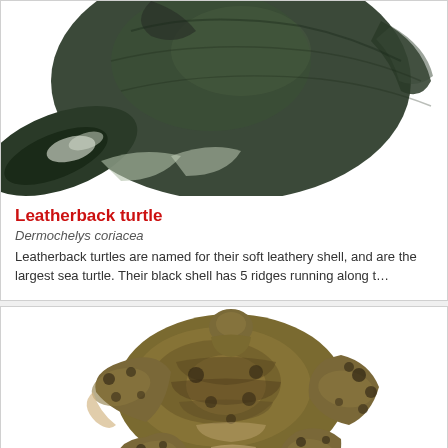[Figure (illustration): Partial top view of a leatherback turtle against white background, showing dark shell and flippers]
Leatherback turtle
Dermochelys coriacea
Leatherback turtles are named for their soft leathery shell, and are the largest sea turtle. Their black shell has 5 ridges running along t…
[Figure (illustration): Top view of a hawksbill turtle against white background, showing olive-brown patterned shell and four flippers]
Hawksbill turtle